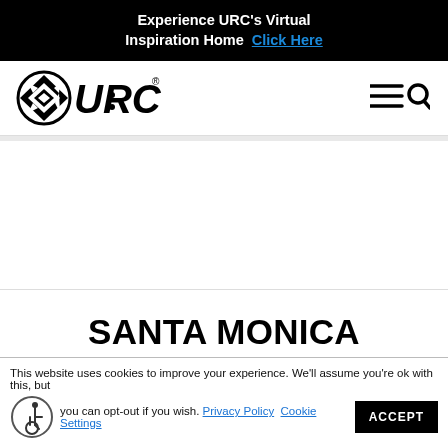Experience URC's Virtual Inspiration Home  Click Here
[Figure (logo): URC logo with compass/diamond icon and bold URC text with registered trademark symbol, alongside hamburger menu and search icons]
SANTA MONICA BEACH FRONT LUXURY
This website uses cookies to improve your experience. We'll assume you're ok with this, but you can opt-out if you wish. Privacy Policy  Cookie Settings  ACCEPT